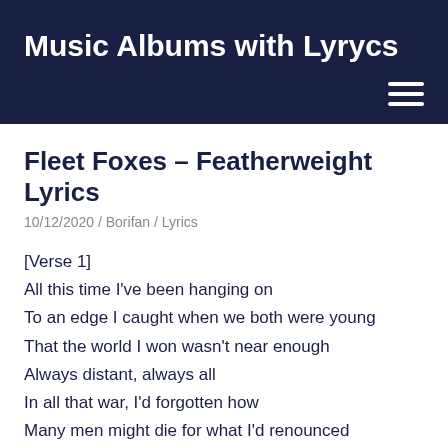Music Albums with Lyrycs
Fleet Foxes – Featherweight Lyrics
10/12/2020 / Borifan / Lyrics
[Verse 1]
All this time I've been hanging on
To an edge I caught when we both were young
That the world I won wasn't near enough
Always distant, always all
In all that war, I'd forgotten how
Many men might die for what I'd renounced